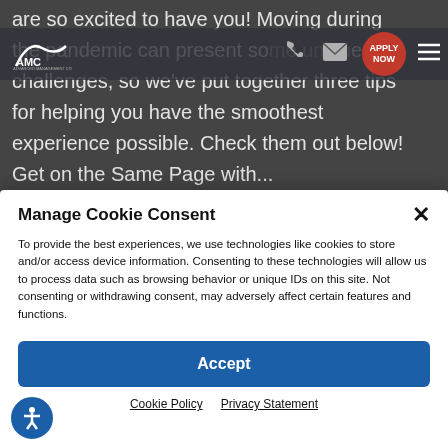[Figure (screenshot): Background website content showing text about moving during pandemic with AMC logo navigation bar]
are so excited to have you! Moving during the pandemic can present some unique challenges, so we've put together three tips for helping you have the smoothest experience possible. Check them out below! Get on the Same Page with…
Manage Cookie Consent
To provide the best experiences, we use technologies like cookies to store and/or access device information. Consenting to these technologies will allow us to process data such as browsing behavior or unique IDs on this site. Not consenting or withdrawing consent, may adversely affect certain features and functions.
Accept
Cookie Policy   Privacy Statement